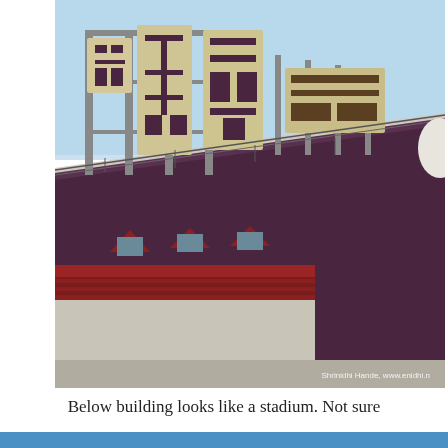[Figure (photo): Close-up photograph of a large stadium or arena building exterior. The upper portion shows a bright blue sky with large Chinese characters (signage) mounted on scaffolding above the roof. The main body of the building is a large dark purple/maroon curved exterior wall. In the lower portion, a smaller brick building with a red roof and dormer windows is visible in front of the stadium. A photo credit reads 'Shrinidhi Hande, www.enidhi.n' in the bottom right corner.]
Below building looks like a stadium. Not sure